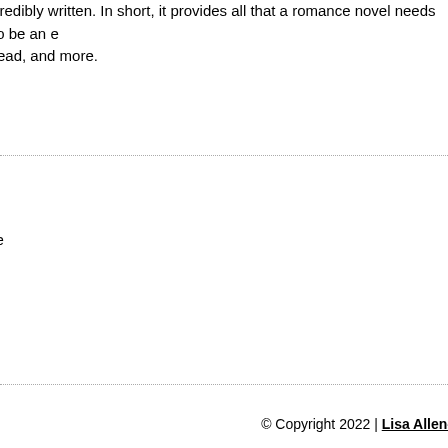credibly written. In short, it provides all that a romance novel needs to be an e read, and more.
e
© Copyright 2022 | Lisa Allen-